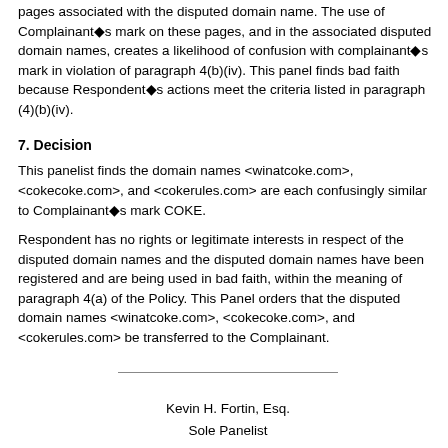pages associated with the disputed domain name. The use of Complainant’s mark on these pages, and in the associated disputed domain names, creates a likelihood of confusion with complainant’s mark in violation of paragraph 4(b)(iv). This panel finds bad faith because Respondent’s actions meet the criteria listed in paragraph (4)(b)(iv).
7. Decision
This panelist finds the domain names <winatcoke.com>, <cokecoke.com>, and <cokerules.com> are each confusingly similar to Complainant’s mark COKE.
Respondent has no rights or legitimate interests in respect of the disputed domain names and the disputed domain names have been registered and are being used in bad faith, within the meaning of paragraph 4(a) of the Policy. This Panel orders that the disputed domain names <winatcoke.com>, <cokecoke.com>, and <cokerules.com> be transferred to the Complainant.
Kevin H. Fortin, Esq.
Sole Panelist

Dated: July 15, 2001